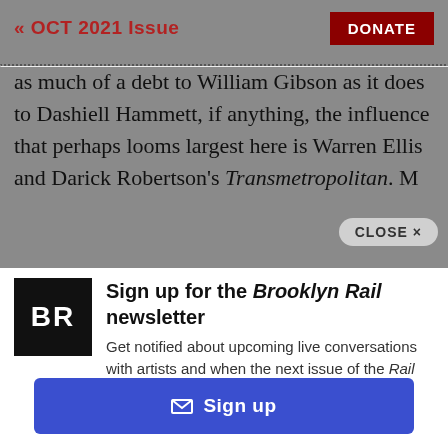« OCT 2021 Issue   DONATE
as much of a debt to William Gibson as it does to Dashiell Hammett, if anything, the influence that perhaps looms largest here is Warren Ellis and Darick Robertson's Transmetropolitan. M
[Figure (screenshot): CLOSE × button overlay on top right of article text]
[Figure (logo): Brooklyn Rail BR logo — black square with white BR letters]
Sign up for the Brooklyn Rail newsletter
Get notified about upcoming live conversations with artists and when the next issue of the Rail drops.
✉ Sign up